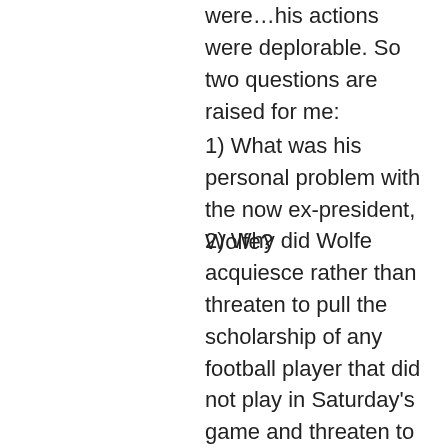were…his actions were deplorable. So two questions are raised for me:
1) What was his personal problem with the now ex-president, Wolfe?
2) Why did Wolfe acquiesce rather than threaten to pull the scholarship of any football player that did not play in Saturday's game and threaten to fire the coach if he did not coach in the game?
Civil disobedience comes with consequences. Ghandi knew this…he spent plenty of time in jail. MLK knew this…he spent time in jail. Pampered